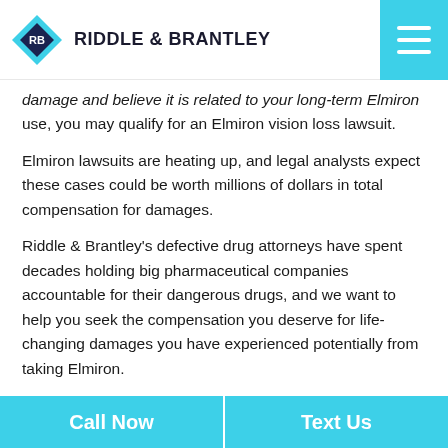RIDDLE & BRANTLEY
damage and believe it is related to your long-term Elmiron use, you may qualify for an Elmiron vision loss lawsuit.
Elmiron lawsuits are heating up, and legal analysts expect these cases could be worth millions of dollars in total compensation for damages.
Riddle & Brantley's defective drug attorneys have spent decades holding big pharmaceutical companies accountable for their dangerous drugs, and we want to help you seek the compensation you deserve for life-changing damages you have experienced potentially from taking Elmiron.
Call Now   Text Us